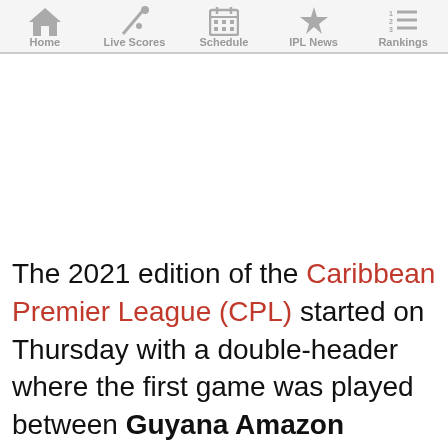Home | Live Scores | Schedule | IPL News | Rankings
The 2021 edition of the Caribbean Premier League (CPL) started on Thursday with a double-header where the first game was played between Guyana Amazon Warriors (GAW) and Trinbago Knight Riders (TKR), while the second fixture took place between St. Kitts &